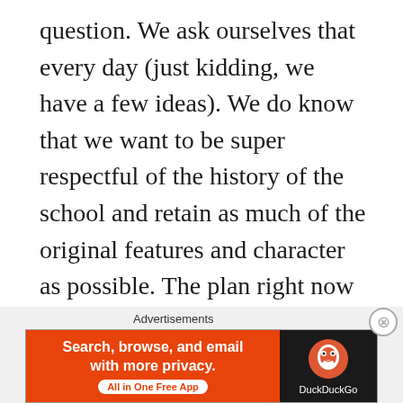question. We ask ourselves that every day (just kidding, we have a few ideas). We do know that we want to be super respectful of the history of the school and retain as much of the original features and character as possible. The plan right now is to turn the school house into a one bedroom, one-bathroom home. Luckily we have Gramp to head up this part of the project. He has some serious chops when it comes to project management and has done his share of small scale renovations (just don't let him near the electric, Em said you'll be in for a shock…!). Here's a very basic list of the major parts of the project, in no particular order:
[Figure (other): DuckDuckGo advertisement banner: orange left panel with text 'Search, browse, and email with more privacy. All in One Free App' and dark right panel with DuckDuckGo logo and name.]